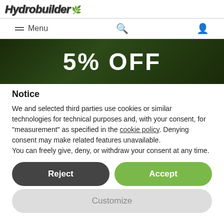Hydrobuilder
[Figure (screenshot): Navigation bar with Menu, search icon, and user icon]
[Figure (photo): Banner image showing '5% OFF' text in white on dark background]
Notice
We and selected third parties use cookies or similar technologies for technical purposes and, with your consent, for "measurement" as specified in the cookie policy. Denying consent may make related features unavailable.
You can freely give, deny, or withdraw your consent at any time.
Reject
Accept
Customize